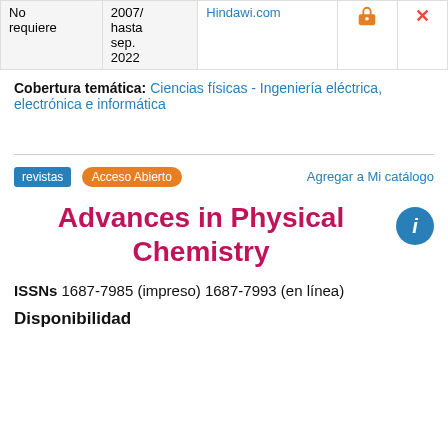|  |  |  |  |  |
| --- | --- | --- | --- | --- |
| No requiere | 2007/ hasta sep. 2022 | Hindawi.com | 🔓 | ✕ |
Cobertura temática: Ciencias físicas - Ingeniería eléctrica, electrónica e informática
revistas  Acceso Abierto   Agregar a Mi catálogo
Advances in Physical Chemistry
ISSNs 1687-7985 (impreso) 1687-7993 (en línea)
Disponibilidad